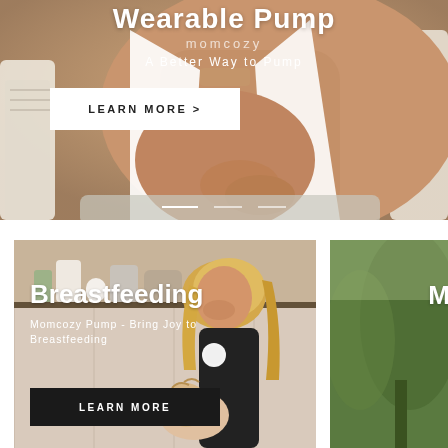[Figure (photo): Hero banner showing a person sitting in a wicker chair, wearing a white open shirt and a nude-colored bra, with soft natural lighting. Background shows a cozy indoor setting.]
Wearable Pump
momcozy
A Better Way to Pump
LEARN MORE >
[Figure (photo): A smiling blonde woman wearing a black sports bra with a white wearable breast pump attached, holding a baby. Background shows a kitchen or living area with decorative items on a shelf.]
Breastfeeding
Momcozy Pump - Bring Joy to Breastfeeding
LEARN MORE
[Figure (photo): Partial view of a second card on the right side showing a green outdoor/nature background with the letter M partially visible.]